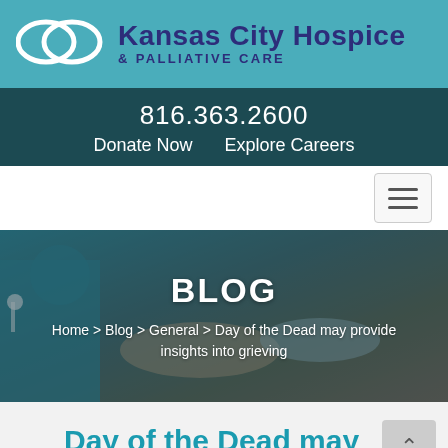[Figure (logo): Kansas City Hospice & Palliative Care logo with two interlocking oval rings and text]
816.363.2600
Donate Now   Explore Careers
[Figure (screenshot): Hamburger menu button (three horizontal lines) in top right corner]
[Figure (photo): Background photo of a healthcare worker in blue scrubs holding the hand of a patient, with the word BLOG overlaid]
Home > Blog > General > Day of the Dead may provide insights into grieving
Day of the Dead may